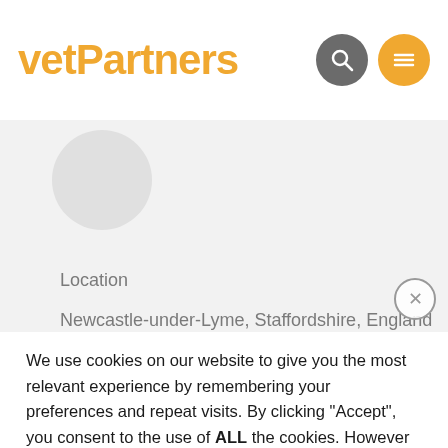vetPartners
[Figure (screenshot): Profile image placeholder circle on grey background with Location label and partial text 'Newcastle-under-Lyme, Staffordshire, England']
We use cookies on our website to give you the most relevant experience by remembering your preferences and repeat visits. By clicking “Accept”, you consent to the use of ALL the cookies. However you may visit Cookie Settings to provide a controlled consent.
Read More   Cookie settings   Reject
Accept